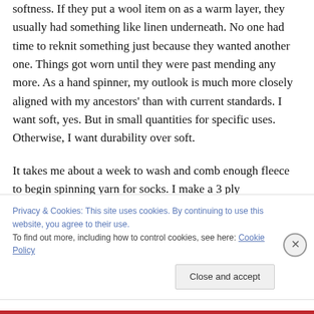softness. If they put a wool item on as a warm layer, they usually had something like linen underneath. No one had time to reknit something just because they wanted another one. Things got worn until they were past mending any more. As a hand spinner, my outlook is much more closely aligned with my ancestors' than with current standards. I want soft, yes. But in small quantities for specific uses. Otherwise, I want durability over soft.
It takes me about a week to wash and comb enough fleece to begin spinning yarn for socks. I make a 3 ply
Privacy & Cookies: This site uses cookies. By continuing to use this website, you agree to their use.
To find out more, including how to control cookies, see here: Cookie Policy